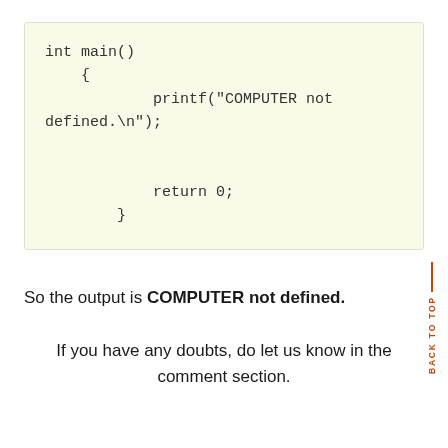So the output is COMPUTER not defined.
If you have any doubts, do let us know in the comment section.